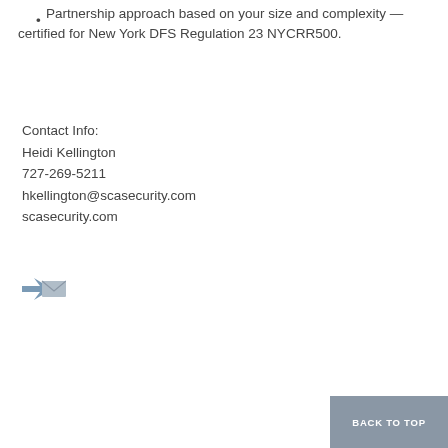Partnership approach based on your size and complexity — certified for New York DFS Regulation 23 NYCRR500.
Contact Info:
Heidi Kellington
727-269-5211
hkellington@scasecurity.com
scasecurity.com
[Figure (other): Small email/send icon]
BACK TO TOP